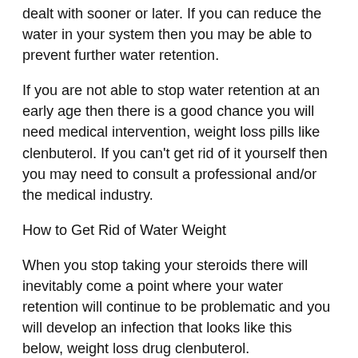dealt with sooner or later. If you can reduce the water in your system then you may be able to prevent further water retention.
If you are not able to stop water retention at an early age then there is a good chance you will need medical intervention, weight loss pills like clenbuterol. If you can't get rid of it yourself then you may need to consult a professional and/or the medical industry.
How to Get Rid of Water Weight
When you stop taking your steroids there will inevitably come a point where your water retention will continue to be problematic and you will develop an infection that looks like this below, weight loss drug clenbuterol.
As you can see above, there is a lot of swelling around the kidney and a very dark fluid coming from the corners of the kidney